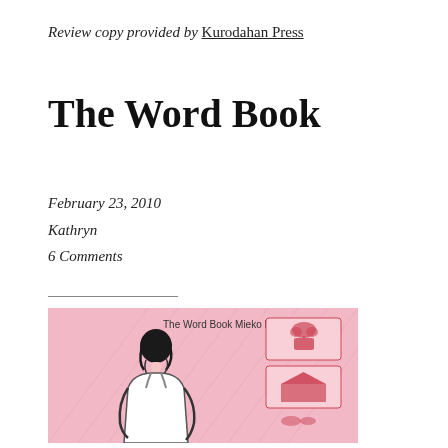Review copy provided by Kurodahan Press
The Word Book
February 23, 2010
Kathryn
6 Comments
[Figure (illustration): Book cover of 'The Word Book' by Mieko Kanai. Pink background with illustration of a woman seen from behind with dark hair, wearing a white top. Red postage stamp-style illustrations in upper right corner showing a flower basket and a house/building.]